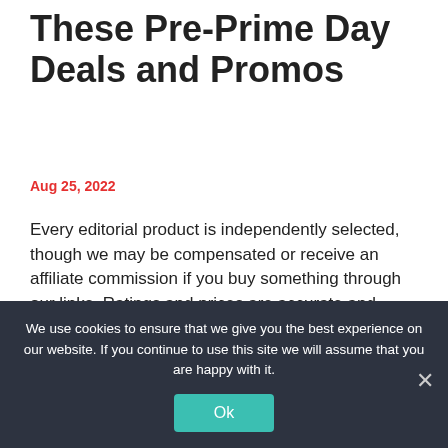Start Saving Early With These Pre-Prime Day Deals and Promos
Aug 25, 2022
Every editorial product is independently selected, though we may be compensated or receive an affiliate commission if you buy something through our links. Ratings and prices are accurate and items are in stock as of time of publication. The wait is over—Amazon Prime Day 2022 is finally happening! Here are all the deals you can
We use cookies to ensure that we give you the best experience on our website. If you continue to use this site we will assume that you are happy with it.